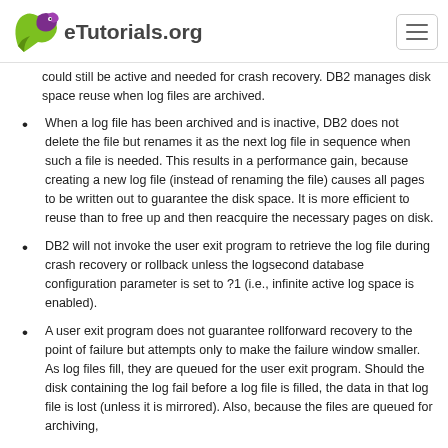eTutorials.org
could still be active and needed for crash recovery. DB2 manages disk space reuse when log files are archived.
When a log file has been archived and is inactive, DB2 does not delete the file but renames it as the next log file in sequence when such a file is needed. This results in a performance gain, because creating a new log file (instead of renaming the file) causes all pages to be written out to guarantee the disk space. It is more efficient to reuse than to free up and then reacquire the necessary pages on disk.
DB2 will not invoke the user exit program to retrieve the log file during crash recovery or rollback unless the logsecond database configuration parameter is set to ?1 (i.e., infinite active log space is enabled).
A user exit program does not guarantee rollforward recovery to the point of failure but attempts only to make the failure window smaller. As log files fill, they are queued for the user exit program. Should the disk containing the log fail before a log file is filled, the data in that log file is lost (unless it is mirrored). Also, because the files are queued for archiving,